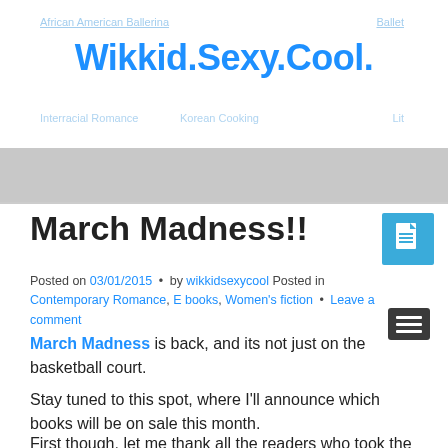Wikkid.Sexy.Cool.
March Madness!!
Posted on 03/01/2015 • by wikkidsexycool Posted in Contemporary Romance, E books, Women's fiction • Leave a comment
March Madness is back, and its not just on the basketball court.
Stay tuned to this spot, where I'll announce which books will be on sale this month.
First though, let me thank all the readers who took the time to purchase and read AT LAST, the interracial love story of a paraplegic male and an older black female. In keeping with the theme of diversity, HUI, the interracial